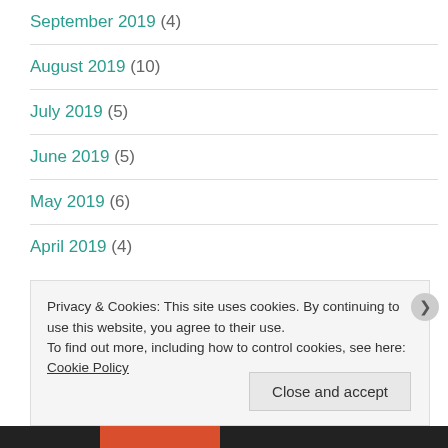September 2019 (4)
August 2019 (10)
July 2019 (5)
June 2019 (5)
May 2019 (6)
April 2019 (4)
Privacy & Cookies: This site uses cookies. By continuing to use this website, you agree to their use.
To find out more, including how to control cookies, see here: Cookie Policy
Close and accept